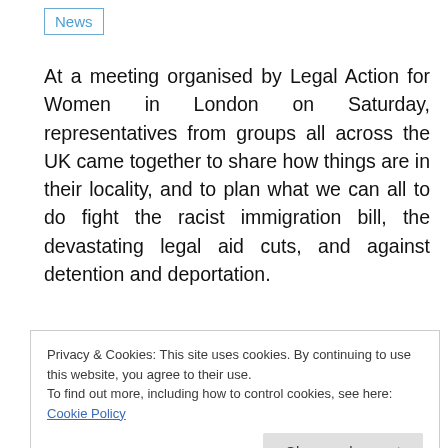News
At a meeting organised by Legal Action for Women in London on Saturday, representatives from groups all across the UK came together to share how things are in their locality, and to plan what we can all to do fight the racist immigration bill, the devastating legal aid cuts, and against detention and deportation.
Unsurprisingly, a pretty bleak picture was
fortifying: determined groups and individuals
Privacy & Cookies: This site uses cookies. By continuing to use this website, you agree to their use.
To find out more, including how to control cookies, see here: Cookie Policy
Close and accept